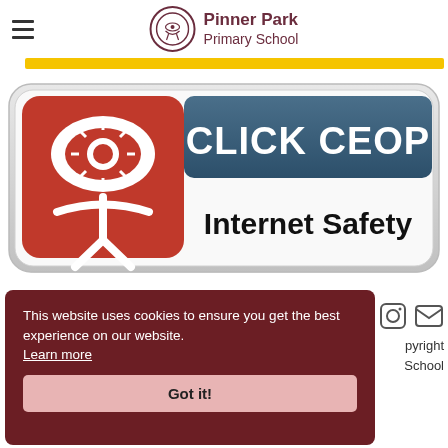Pinner Park Primary School
[Figure (logo): CLICK CEOP Internet Safety button logo - red square with white eye and figure icon on left, dark blue rounded rectangle with white text CLICK CEOP on top and black text Internet Safety below, all within a light grey rounded rectangle with subtle shadow]
This website uses cookies to ensure you get the best experience on our website. Learn more
Got it!
pyright School